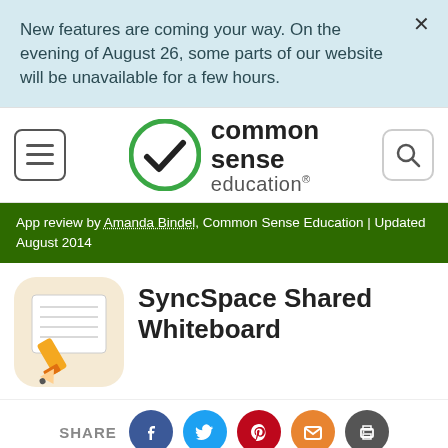New features are coming your way. On the evening of August 26, some parts of our website will be unavailable for a few hours.
[Figure (logo): Common Sense Education logo with green checkmark circle and text]
App review by Amanda Bindel, Common Sense Education | Updated August 2014
[Figure (screenshot): SyncSpace Shared Whiteboard app icon showing a pencil/eraser on a notepad]
SyncSpace Shared Whiteboard